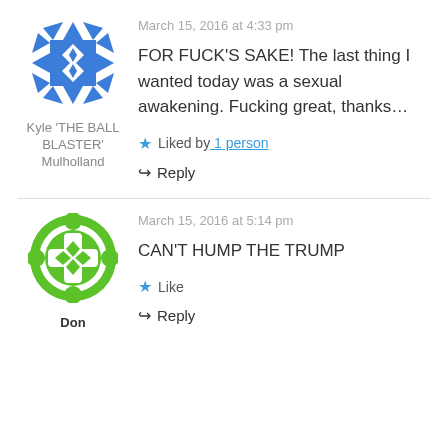March 15, 2016 at 4:33 pm
[Figure (illustration): Blue geometric avatar icon for Kyle 'THE BALL BLASTER' Mulholland]
Kyle 'THE BALL BLASTER' Mulholland
FOR FUCK'S SAKE! The last thing I wanted today was a sexual awakening. Fucking great, thanks...
Liked by 1 person
Reply
March 15, 2016 at 5:14 pm
[Figure (illustration): Green geometric avatar icon for Don]
Don
CAN'T HUMP THE TRUMP
Like
Reply